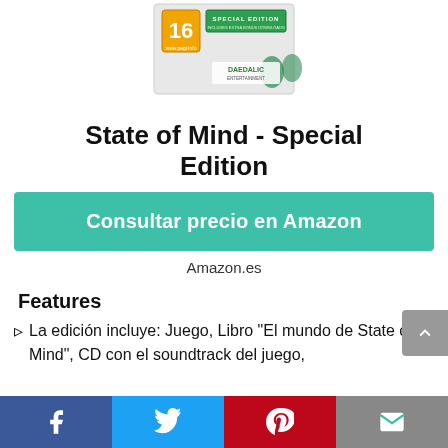[Figure (photo): Product box image of State of Mind Special Edition game showing PEGI 16 rating and Daedalic Entertainment logo with green leaf design and Special Edition badge]
State of Mind - Special Edition
Consultar precio en Amazon
Amazon.es
Features
La edición incluye: Juego, Libro "El mundo de State of Mind", CD con el soundtrack del juego,
[Figure (other): Social sharing bar with Facebook, Twitter, Pinterest, and email buttons]